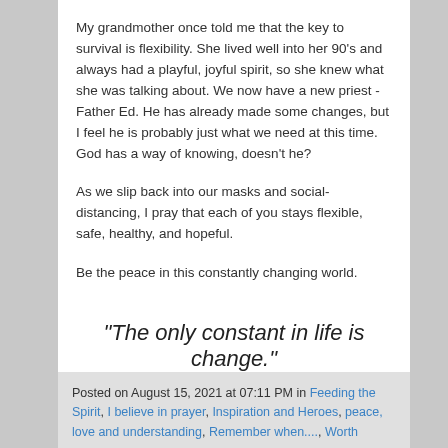My grandmother once told me that the key to survival is flexibility. She lived well into her 90's and always had a playful, joyful spirit, so she knew what she was talking about. We now have a new priest - Father Ed. He has already made some changes, but I feel he is probably just what we need at this time. God has a way of knowing, doesn't he?
As we slip back into our masks and social-distancing, I pray that each of you stays flexible, safe, healthy, and hopeful.
Be the peace in this constantly changing world.
"The only constant in life is change."
~Heraclitus
Posted on August 15, 2021 at 07:11 PM in Feeding the Spirit, I believe in prayer, Inspiration and Heroes, peace, love and understanding, Remember when..., Worth